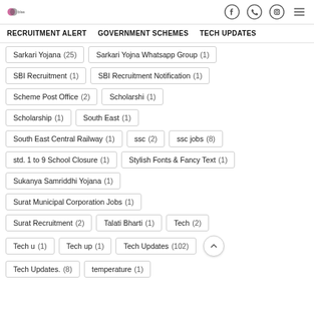Website header with logo and social icons (Facebook, WhatsApp, Instagram, menu)
Navigation: RECRUITMENT ALERT | GOVERNMENT SCHEMES | TECH UPDATES
Sarkari Yojana (25)
Sarkari Yojna Whatsapp Group (1)
SBI Recruitment (1)
SBI Recruitment Notification (1)
Scheme Post Office (2)
Scholarshi (1)
Scholarship (1)
South East (1)
South East Central Railway (1)
ssc (2)
ssc jobs (8)
std. 1 to 9 School Closure (1)
Stylish Fonts & Fancy Text (1)
Sukanya Samriddhi Yojana (1)
Surat Municipal Corporation Jobs (1)
Surat Recruitment (2)
Talati Bharti (1)
Tech (2)
Tech u (1)
Tech up (1)
Tech Updates (102)
Tech Updates. (8)
temperature (1)